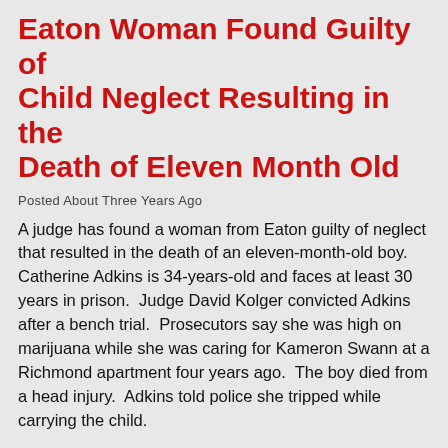Eaton Woman Found Guilty of Child Neglect Resulting in the Death of Eleven Month Old
Posted About Three Years Ago
A judge has found a woman from Eaton guilty of neglect that resulted in the death of an eleven-month-old boy.  Catherine Adkins is 34-years-old and faces at least 30 years in prison.  Judge David Kolger convicted Adkins after a bench trial.  Prosecutors say she was high on marijuana while she was caring for Kameron Swann at a Richmond apartment four years ago.  The boy died from a head injury.  Adkins told police she tripped while carrying the child.
[Figure (map): Ohio Unemployment Rates June 2019 (Not Seasonally Adjusted) — county-level choropleth map of Ohio showing unemployment rates by county, partially visible at the bottom of the page.]